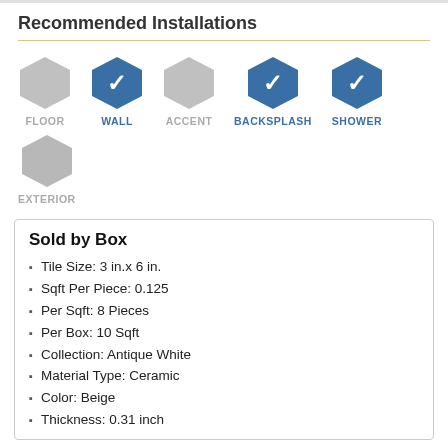Recommended Installations
[Figure (infographic): Installation type icons: FLOOR (grey hexagon, inactive), WALL (blue hexagon with checkmark, active), ACCENT (grey hexagon, inactive), BACKSPLASH (blue hexagon with checkmark, active), SHOWER (blue hexagon with checkmark, active), EXTERIOR (grey hexagon, inactive)]
Sold by Box
Tile Size: 3 in.x 6 in.
Sqft Per Piece: 0.125
Per Sqft: 8 Pieces
Per Box: 10 Sqft
Collection: Antique White
Material Type: Ceramic
Color: Beige
Thickness: 0.31 inch